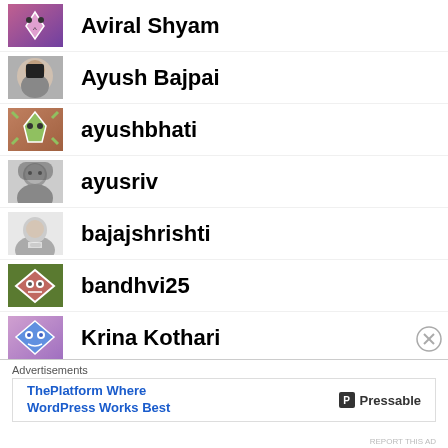Aviral Shyam
Ayush Bajpai
ayushbhati
ayusriv
bajajshrishti
bandhvi25
Krina Kothari
bhagyashri21
Advertisements
ThePlatform Where WordPress Works Best
Pressable